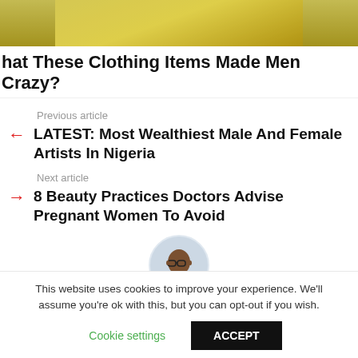[Figure (photo): Partial image of a person wearing a yellow lace/knit top, cropped at torso level]
hat These Clothing Items Made Men Crazy?
Previous article
LATEST: Most Wealthiest Male And Female Artists In Nigeria
Next article
8 Beauty Practices Doctors Advise Pregnant Women To Avoid
[Figure (photo): Circular avatar photo of a man with glasses wearing a dark jacket and white shirt]
Written by nigeriahow
This website uses cookies to improve your experience. We'll assume you're ok with this, but you can opt-out if you wish.
Cookie settings
ACCEPT